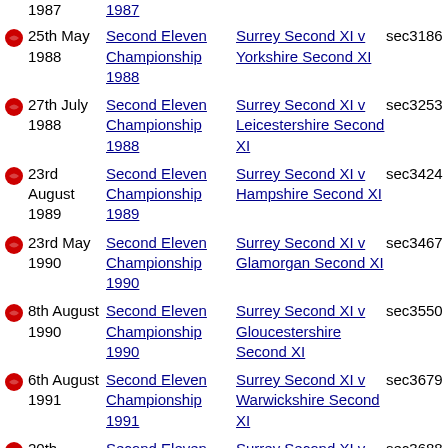25th May 1988 | Second Eleven Championship 1988 | Surrey Second XI v Yorkshire Second XI | sec3186
27th July 1988 | Second Eleven Championship 1988 | Surrey Second XI v Leicestershire Second XI | sec3253
23rd August 1989 | Second Eleven Championship 1989 | Surrey Second XI v Hampshire Second XI | sec3424
23rd May 1990 | Second Eleven Championship 1990 | Surrey Second XI v Glamorgan Second XI | sec3467
8th August 1990 | Second Eleven Championship 1990 | Surrey Second XI v Gloucestershire Second XI | sec3550
6th August 1991 | Second Eleven Championship 1991 | Surrey Second XI v Warwickshire Second XI | sec3679
20th August 1991 | Second Eleven Championship 1991 | Surrey Second XI v Somerset Second XI | sec3688
12th August | Rapid Cricketline | Surrey Second XI v | sec3828